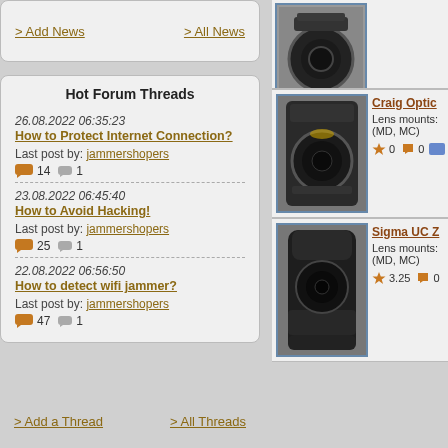> Add News
> All News
Hot Forum Threads
26.08.2022 06:35:23
How to Protect Internet Connection?
Last post by: jammershopers
14 1
23.08.2022 06:45:40
How to Avoid Hacking!
Last post by: jammershopers
25 1
22.08.2022 06:56:50
How to detect wifi jammer?
Last post by: jammershopers
47 1
> Add a Thread
> All Threads
[Figure (photo): Partial view of a camera lens (top crop)]
Craig Optic
Lens mounts: (MD, MC)
0 0
[Figure (photo): Camera lens - Craig Optic, dark body with zoom ring]
Sigma UC Z
Lens mounts: (MD, MC)
3.25 0
[Figure (photo): Camera lens - Sigma UC Z, black barrel]